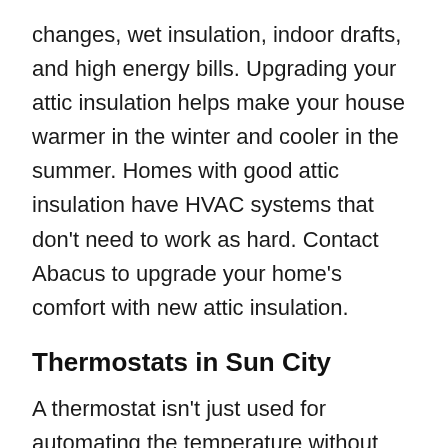changes, wet insulation, indoor drafts, and high energy bills. Upgrading your attic insulation helps make your house warmer in the winter and cooler in the summer. Homes with good attic insulation have HVAC systems that don't need to work as hard. Contact Abacus to upgrade your home's comfort with new attic insulation.
Thermostats in Sun City
A thermostat isn't just used for automating the temperature without you having to continually turn it on and off. It's a big part of any energy-saving plan, since using the thermostat allows your air conditioner to be as efficient as possible. If you are just using the temperature function, or if your thermostat only has a temperature function, you are missing out. Programmable thermostats have a function to set it to run at various temperatures